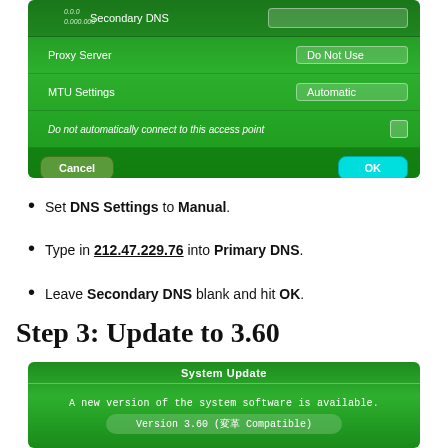[Figure (screenshot): PS Vita/PSP network settings screen showing Secondary DNS, Proxy Server (Do Not Use), MTU Settings (Automatic), Do not automatically connect to this access point checkbox, Cancel and OK buttons. Green UI background.]
Set DNS Settings to Manual.
Type in 212.47.229.76 into Primary DNS.
Leave Secondary DNS blank and hit OK.
Step 3: Update to 3.60
[Figure (screenshot): System Update screen on PS Vita showing 'A new version of the system software is available.' and 'Version 3.60 (変革 Compatible)']